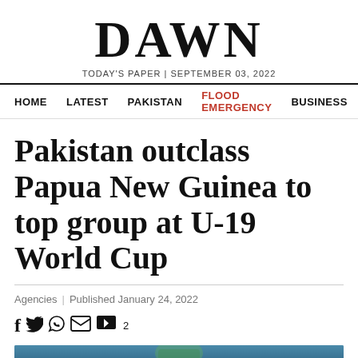DAWN
TODAY'S PAPER | SEPTEMBER 03, 2022
HOME   LATEST   PAKISTAN   FLOOD EMERGENCY   BUSINESS
Pakistan outclass Papua New Guinea to top group at U-19 World Cup
Agencies | Published January 24, 2022
[Figure (photo): Bottom strip of a photo showing a cricket player in green Pakistan kit, blurred crowd in background]